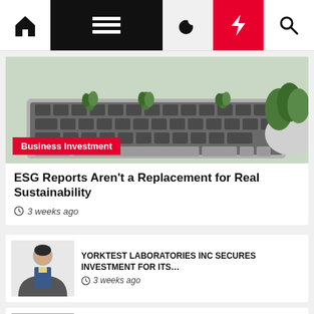Navigation bar with home, menu, moon, lightning, search icons
[Figure (photo): Keyboard with plants growing between keys on green background]
Business Investment
ESG Reports Aren't a Replacement for Real Sustainability
3 weeks ago
[Figure (photo): Portrait of a man in suit and tie]
YORKTEST LABORATORIES INC SECURES INVESTMENT FOR ITS…
3 weeks ago
Mayor Adams Announces $1.5